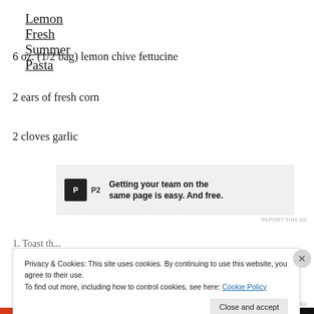Lemon Fresh Summer Pasta
6 oz. (1/2 bag) lemon chive fettucine
2 ears of fresh corn
2 cloves garlic
[Figure (screenshot): Advertisement banner for P2 service with logo and text: Getting your team on the same page is easy. And free.]
Privacy & Cookies: This site uses cookies. By continuing to use this website, you agree to their use.
To find out more, including how to control cookies, see here: Cookie Policy
Close and accept